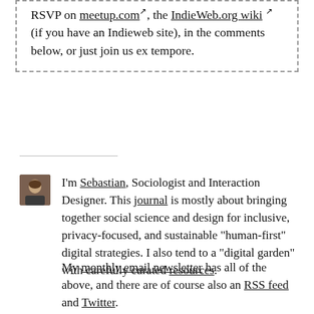RSVP on meetup.com, the IndieWeb.org wiki (if you have an Indieweb site), in the comments below, or just join us ex tempore.
[Figure (photo): Small portrait photo of Sebastian, a man]
I'm Sebastian, Sociologist and Interaction Designer. This journal is mostly about bringing together social science and design for inclusive, privacy-focused, and sustainable "human-first" digital strategies. I also tend to a "digital garden" with carefully curated resources.
My monthly email newsletter has all of the above, and there are of course also an RSS feed and Twitter.